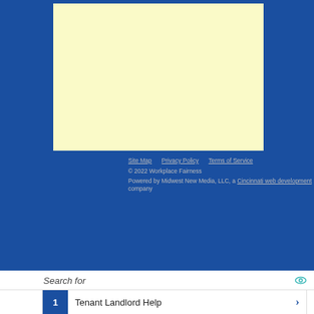[Figure (other): Advertisement placeholder box with light yellow background on blue website footer area]
Site Map   Privacy Policy   Terms of Service
© 2022 Workplace Fairness
Powered by Midwest New Media, LLC, a Cincinnati web development company
Search for
1  Tenant Landlord Help
2  Personal Injury Advocates